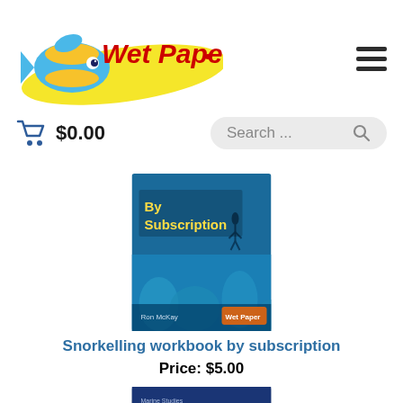[Figure (logo): Wet Paper logo with tropical fish and yellow swoosh, text reads 'Wet Paper']
$0.00
[Figure (screenshot): Search bar with text 'Search ...' and magnifying glass icon]
[Figure (photo): Book cover showing 'By Subscription' text over underwater coral reef scene]
Snorkelling workbook by subscription
Price: $5.00
[Figure (photo): Book cover showing 'Snorkelling Worksheets 6th Edition' over underwater diving scene]